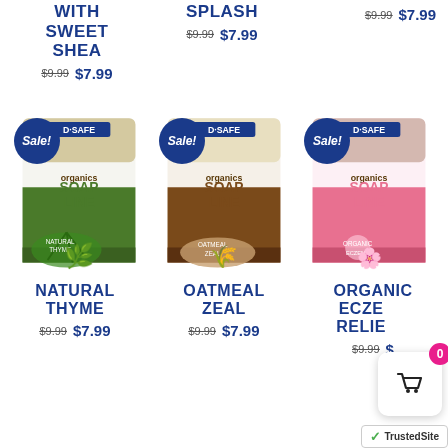WITH SWEET SHEA
$9.99  $7.99
SPLASH
$9.99  $7.99
$9.99  $7.99
[Figure (photo): Three soap product boxes with Sale! badges: Natural Thyme, Oatmeal Zeal, Organic Eczema Relief]
NATURAL THYME
$9.99  $7.99
OATMEAL ZEAL
$9.99  $7.99
ORGANIC ECZEMA RELIEF
$9.99  $...